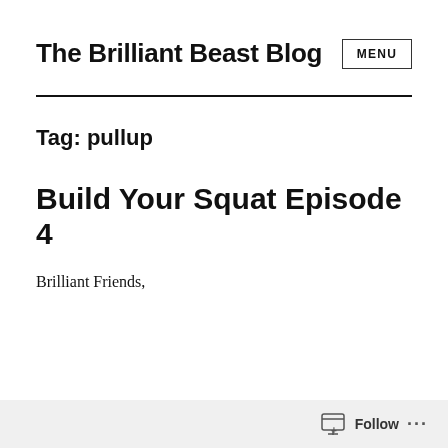The Brilliant Beast Blog
Tag: pullup
Build Your Squat Episode 4
Brilliant Friends,
Follow